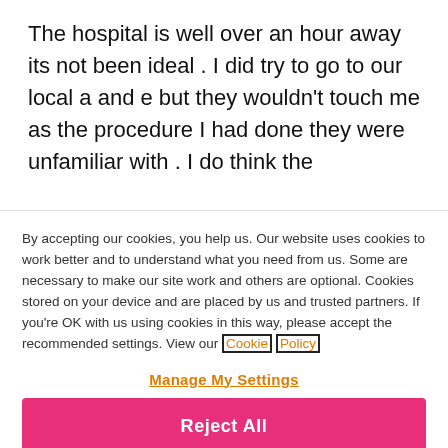The hospital is well over an hour away its not been ideal . I did try to go to our local a and e but they wouldn't touch me as the procedure I had done they were unfamiliar with . I do think the
By accepting our cookies, you help us. Our website uses cookies to work better and to understand what you need from us. Some are necessary to make our site work and others are optional. Cookies stored on your device and are placed by us and trusted partners. If you're OK with us using cookies in this way, please accept the recommended settings. View our Cookie Policy
Manage My Settings
Reject All
Accept All Cookies